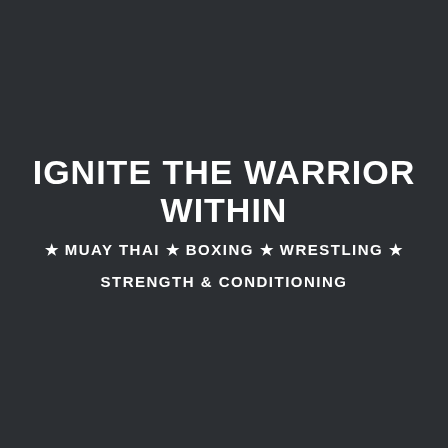IGNITE THE WARRIOR WITHIN
★ MUAY THAI ★ BOXING ★ WRESTLING ★
STRENGTH & CONDITIONING